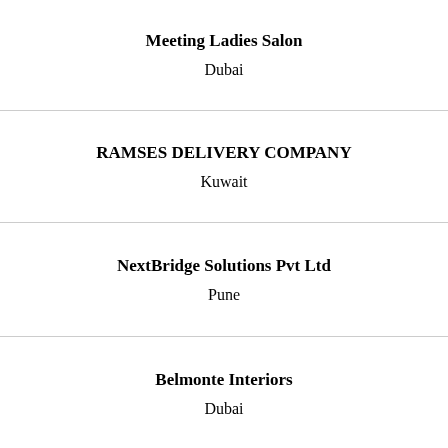Meeting Ladies Salon
Dubai
RAMSES DELIVERY COMPANY
Kuwait
NextBridge Solutions Pvt Ltd
Pune
Belmonte Interiors
Dubai